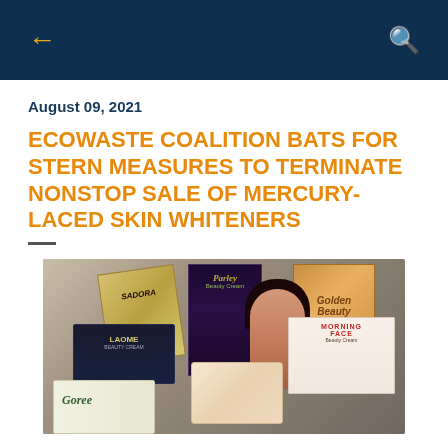← [back] [search]
August 09, 2021
ECOWASTE COALITION BATS FOR STERN MEASURES TO TERMINATE NONSTOP SALE OF MERCURY-LACED SKIN WHITENERS
[Figure (photo): Photo of multiple skin whitening beauty cream product boxes including Parley Beauty Cream, Goree, Golden Beauty, Morning Face Beauty Cream, LaOme Beauty Cream, Sadora, and other products arranged together on a surface.]